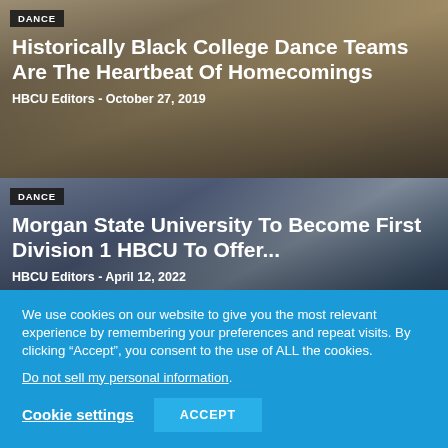[Figure (photo): Background photo of stadium bleachers with blurred crowd, used as article card background for first article]
DANCE
Historically Black College Dance Teams Are The Heartbeat Of Homecomings
HBCU Editors  -  October 27, 2019
[Figure (photo): Photo of HBCU dance team performing at a stadium, cheerleaders in white and red uniforms with arms raised]
DANCE
Morgan State University To Become First Division 1 HBCU To Offer...
HBCU Editors  -  April 12, 2022
We use cookies on our website to give you the most relevant experience by remembering your preferences and repeat visits. By clicking “Accept”, you consent to the use of ALL the cookies.
Do not sell my personal information.
Cookie settings
ACCEPT